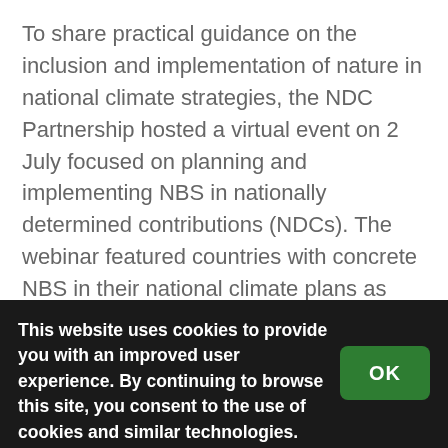To share practical guidance on the inclusion and implementation of nature in national climate strategies, the NDC Partnership hosted a virtual event on 2 July focused on planning and implementing NBS in nationally determined contributions (NDCs). The webinar featured countries with concrete NBS in their national climate plans as well as NBS experts from the World Wildlife Fund, Conservation International, GIZ, and the Nature Conservancy.
This website uses cookies to provide you with an improved user experience. By continuing to browse this site, you consent to the use of cookies and similar technologies.